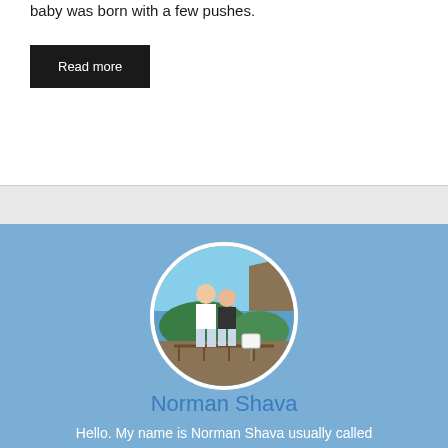baby was born with a few pushes.
Read more
[Figure (photo): Circular profile photo of a couple (man and woman) standing at a scenic outdoor coastal location with rocks and water in the background, surrounded by green vegetation. The man wears a white shirt and the woman a dark top.]
Norman Shava
Hello. My name is Norman Shava usually called